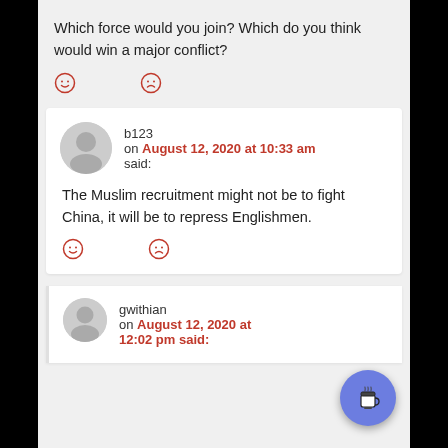Which force would you join? Which do you think would win a major conflict?
☺ ☹ (reaction emoji icons)
b123
on August 12, 2020 at 10:33 am
said:
The Muslim recruitment might not be to fight China, it will be to repress Englishmen.
☺ ☹ (reaction emoji icons)
gwithian
on August 12, 2020 at
12:02 pm said: